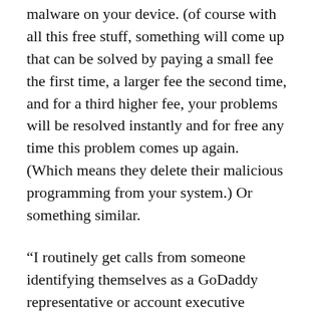malware on your device. (of course with all this free stuff, something will come up that can be solved by paying a small fee the first time, a larger fee the second time, and for a third higher fee, your problems will be resolved instantly and for free any time this problem comes up again. (Which means they delete their malicious programming from your system.) Or something similar.
“I routinely get calls from someone identifying themselves as a GoDaddy representative or account executive offering me products to fix, upgrade, or protect my web site. It’s extremely annoying and the calls appear to be coming from India, not Scottsdale, Arizona, using a fake US phone number.”